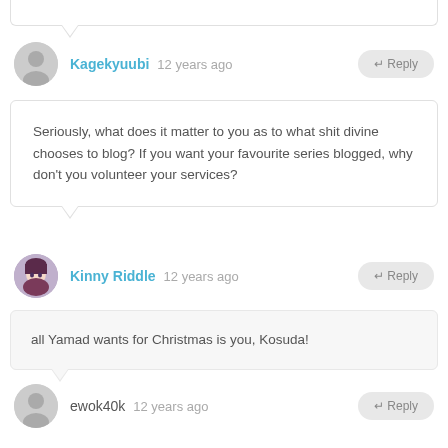(partial bubble top — cropped from previous page)
Kagekyuubi  12 years ago  ← Reply
Seriously, what does it matter to you as to what shit divine chooses to blog? If you want your favourite series blogged, why don't you volunteer your services?
Kinny Riddle  12 years ago  ← Reply
all Yamad wants for Christmas is you, Kosuda!
ewok40k  12 years ago  ← Reply